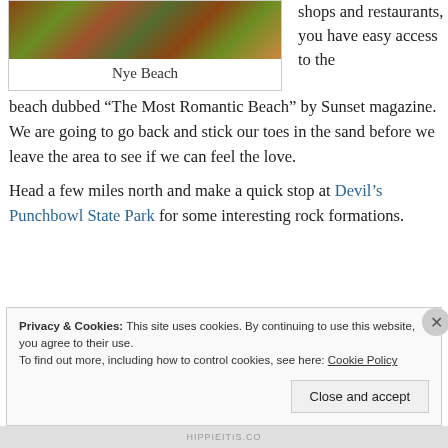[Figure (photo): Photograph of Nye Beach showing reddish-orange coastal vegetation and greenery]
Nye Beach
shops and restaurants, you have easy access to the beach dubbed “The Most Romantic Beach” by Sunset magazine.  We are going to go back and stick our toes in the sand before we leave the area to see if we can feel the love.
Head a few miles north and make a quick stop at Devil’s Punchbowl State Park for some interesting rock formations.
Privacy & Cookies: This site uses cookies. By continuing to use this website, you agree to their use.
To find out more, including how to control cookies, see here: Cookie Policy
Close and accept
HIPPIEITIS.CO